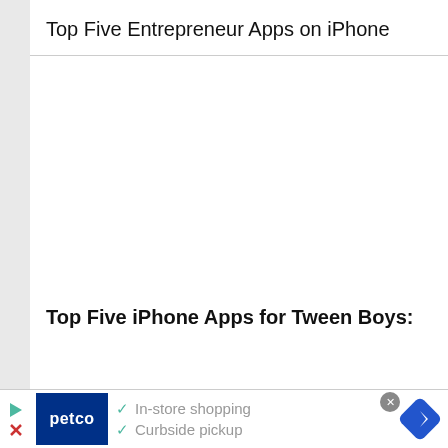Top Five Entrepreneur Apps on iPhone
Top Five iPhone Apps for Tween Boys:
[Figure (screenshot): Advertisement banner for Petco showing a dark blue Petco logo on the left, checkmarks next to 'In-store shopping' and 'Curbside pickup' text in grey, a close button (X in grey circle), and a blue diamond navigation icon on the right.]